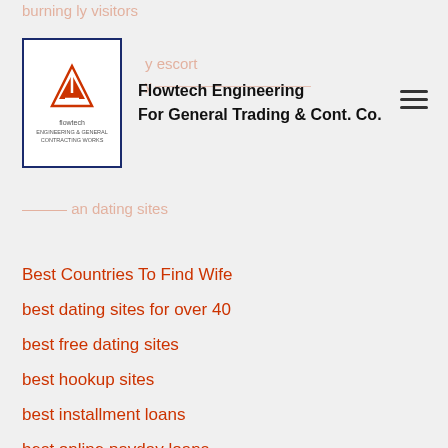Flowtech Engineering For General Trading & Cont. Co.
Best Countries To Find Wife
best dating sites for over 40
best free dating sites
best hookup sites
best installment loans
best online payday loans
best payday loan
best payday loans
best paydayloan
best sugar daddy websites
bestbrides.org Best Herpes Dating Site